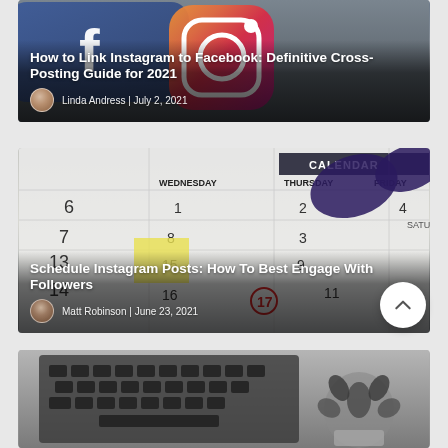[Figure (photo): Blog card 1: Instagram and Facebook icons on grey/dark background with article title overlay. Title: 'How to Link Instagram to Facebook: Definitive Cross-Posting Guide for 2021'. Author: Linda Andress | July 2, 2021]
[Figure (photo): Blog card 2: Calendar photo with glasses on desk background. Title: 'Schedule Instagram Posts: How To Best Engage With Followers'. Author: Matt Robinson | June 23, 2021]
[Figure (photo): Blog card 3 (partial): Laptop keyboard with succulent plant, black and white photo — article partially visible at bottom of page.]